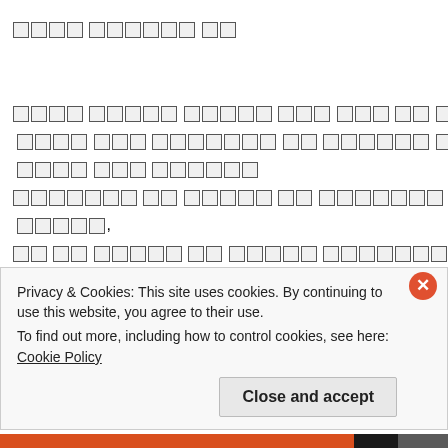[tofu characters] — unreadable title line
[tofu characters] — unreadable body text lines
Privacy & Cookies: This site uses cookies. By continuing to use this website, you agree to their use.
To find out more, including how to control cookies, see here: Cookie Policy
Close and accept